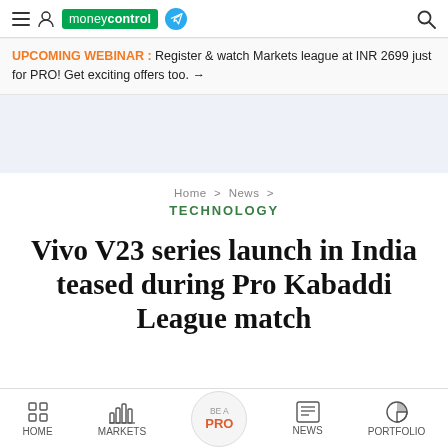moneycontrol
UPCOMING WEBINAR : Register & watch Markets league at INR 2699 just for PRO! Get exciting offers too. →
Home > News > TECHNOLOGY
Vivo V23 series launch in India teased during Pro Kabaddi League match
HOME  MARKETS  BE A PRO  NEWS  PORTFOLIO